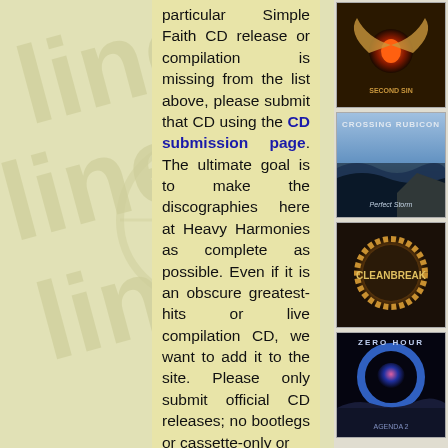particular Simple Faith CD release or compilation is missing from the list above, please submit that CD using the CD submission page. The ultimate goal is to make the discographies here at Heavy Harmonies as complete as possible. Even if it is an obscure greatest-hits or live compilation CD, we want to add it to the site. Please only submit official CD releases; no bootlegs or cassette-only or
[Figure (photo): Album cover with angel wings and eye motif, text 'Second Sin']
[Figure (photo): Album cover 'Crossing Rubicon - Perfect Storm' with ocean wave and rocky coast]
[Figure (photo): Album cover 'Cleanbreak' with circular saw blade on dark background]
[Figure (photo): Album cover 'Zero Hour - Agenda 2' with circular portal and sci-fi landscape]